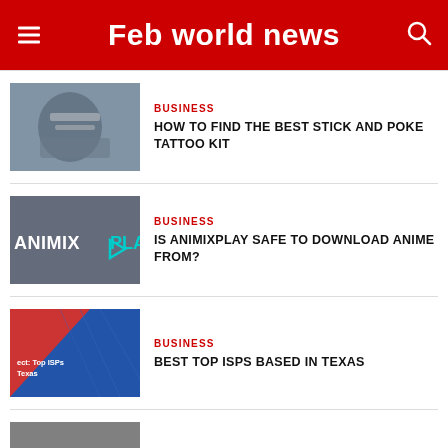Feb world news
[Figure (photo): Person handling cards or tattoo kit on a table]
BUSINESS
HOW TO FIND THE BEST STICK AND POKE TATTOO KIT
[Figure (logo): Animixplay logo on dark background]
BUSINESS
IS ANIMIXPLAY SAFE TO DOWNLOAD ANIME FROM?
[Figure (photo): Top ISPs based in Texas graphic with red and blue background]
BUSINESS
BEST TOP ISPS BASED IN TEXAS
[Figure (photo): Partial thumbnail of another article]